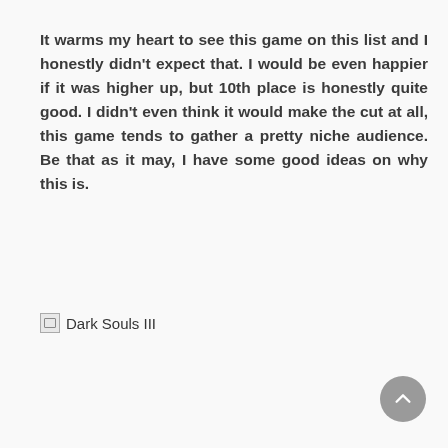It warms my heart to see this game on this list and I honestly didn't expect that. I would be even happier if it was higher up, but 10th place is honestly quite good. I didn't even think it would make the cut at all, this game tends to gather a pretty niche audience. Be that as it may, I have some good ideas on why this is.
[Figure (illustration): Broken image placeholder with alt text 'Dark Souls III']